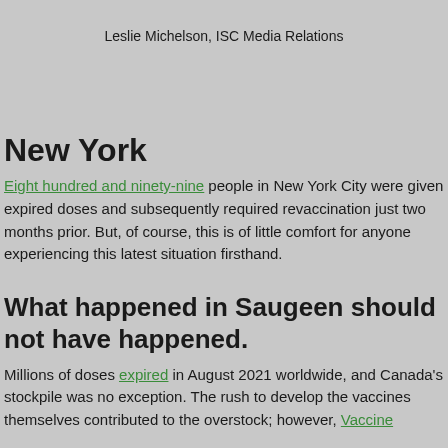Leslie Michelson, ISC Media Relations
New York
Eight hundred and ninety-nine people in New York City were given expired doses and subsequently required revaccination just two months prior. But, of course, this is of little comfort for anyone experiencing this latest situation firsthand.
What happened in Saugeen should not have happened.
Millions of doses expired in August 2021 worldwide, and Canada's stockpile was no exception. The rush to develop the vaccines themselves contributed to the overstock; however, Vaccine